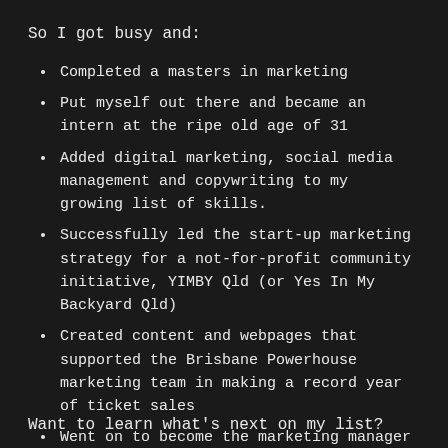So I got busy and:
Completed a masters in marketing
Put myself out there and became an intern at the ripe old age of 31
Added digital marketing, social media management and copywriting to my growing list of skills.
Successfully led the start-up marketing strategy for a not-for-profit community initiative, YIMBY Qld (or Yes In My Backyard Qld)
Created content and webpages that supported the Brisbane Powerhouse marketing team in making a record year of ticket sales
Went on to become the marketing manager at The Common Good (The Prince Charles Hospital Foundation) helping to raise funds for medical research.
Want to learn what's next on my list?